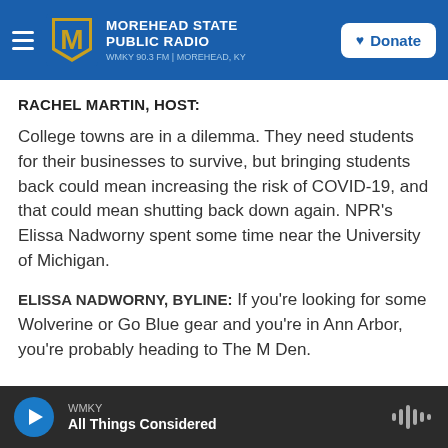MOREHEAD STATE PUBLIC RADIO WMKY 90.3 FM | MOREHEAD, KY
RACHEL MARTIN, HOST:
College towns are in a dilemma. They need students for their businesses to survive, but bringing students back could mean increasing the risk of COVID-19, and that could mean shutting back down again. NPR's Elissa Nadworny spent some time near the University of Michigan.
ELISSA NADWORNY, BYLINE: If you're looking for some Wolverine or Go Blue gear and you're in Ann Arbor, you're probably heading to The M Den.
WMKY All Things Considered